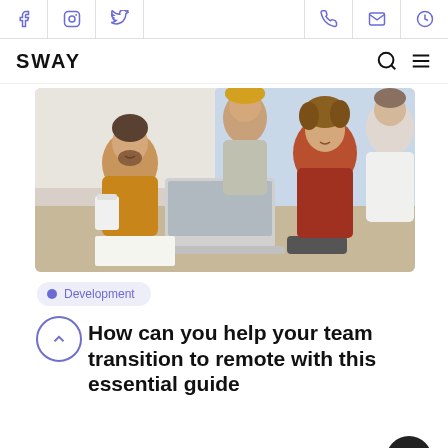SWAY — social icons top bar with Facebook, Instagram, Twitter, phone, mail, clock icons; search and menu navigation
[Figure (photo): Group of four diverse people gathered around a laptop on a table in an office setting, smiling and collaborating]
Development
How can you help your team transition to remote with this essential guide